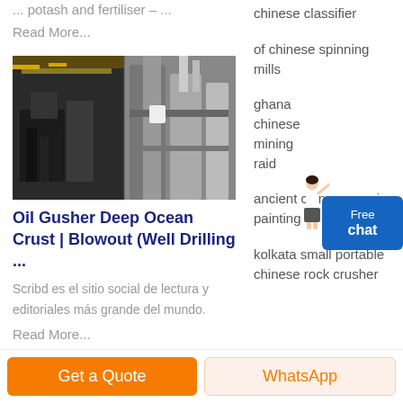... potash and fertiliser – ...
Read More...
[Figure (photo): Industrial machinery/equipment photo — two side-by-side images showing factory interior with heavy machinery and large cylindrical equipment]
Oil Gusher Deep Ocean Crust | Blowout (Well Drilling ...
Scribd es el sitio social de lectura y editoriales más grande del mundo.
Read More...
chinese classifier
of chinese spinning mills
ghana chinese mining raid
ancient chinese music painting
kolkata small portable chinese rock crusher
Free chat
Get a Quote
WhatsApp